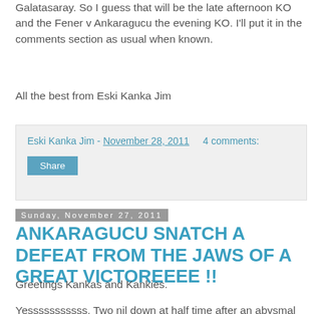Galatasaray. So I guess that will be the late afternoon KO and the Fener v Ankaragucu the evening KO. I'll put it in the comments section as usual when known.
All the best from Eski Kanka Jim
Eski Kanka Jim - November 28, 2011   4 comments:
Share
Sunday, November 27, 2011
ANKARAGUCU SNATCH A DEFEAT FROM THE JAWS OF A GREAT VICTOREEEE !!
Greetings Kankas and Kankies.
Yesssssssssss. Two nil down at half time after an abysmal display of 'football' in the first half and Ankaragucu came back from the dead to ............... lose ............... in the end